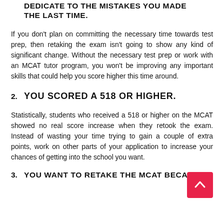1. YOU DON'T HAVE ENOUGH TIME TO DEDICATE TO THE MISTAKES YOU MADE THE LAST TIME.
If you don't plan on committing the necessary time towards test prep, then retaking the exam isn't going to show any kind of significant change. Without the necessary test prep or work with an MCAT tutor program, you won't be improving any important skills that could help you score higher this time around.
2. YOU SCORED A 518 OR HIGHER.
Statistically, students who received a 518 or higher on the MCAT showed no real score increase when they retook the exam. Instead of wasting your time trying to gain a couple of extra points, work on other parts of your application to increase your chances of getting into the school you want.
3. YOU WANT TO RETAKE THE MCAT BECAUSE